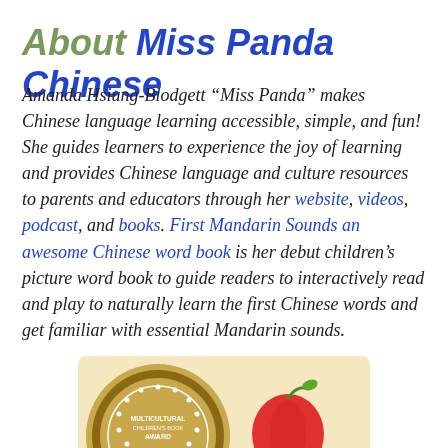About Miss Panda Chinese
Amanda Hsiung-Blodgett “Miss Panda” makes Chinese language learning accessible, simple, and fun! She guides learners to experience the joy of learning and provides Chinese language and culture resources to parents and educators through her website, videos, podcast, and books. First Mandarin Sounds an awesome Chinese word book is her debut children’s picture word book to guide readers to interactively read and play to naturally learn the first Chinese words and get familiar with essential Mandarin sounds.
[Figure (logo): Multicultural Children's Book award badge and apple graphic at the bottom of the page]